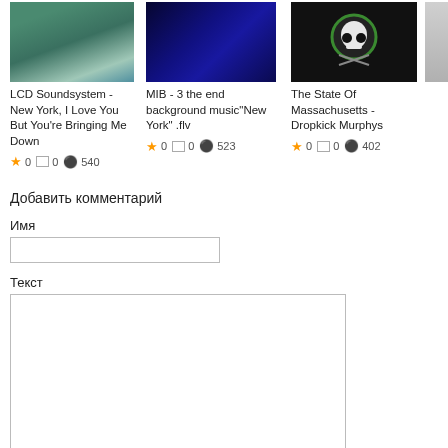[Figure (screenshot): Thumbnail for LCD Soundsystem - New York, I Love You But You're Bringing Me Down video]
LCD Soundsystem - New York, I Love You But You're Bringing Me Down
★ 0  □ 0  👁 540
[Figure (screenshot): Thumbnail for MIB - 3 the end background music "New York" .flv video]
MIB - 3 the end background music"New York" .flv
★ 0  □ 0  👁 523
[Figure (screenshot): Thumbnail for The State Of Massachusetts - Dropkick Murphys video]
The State Of Massachusetts - Dropkick Murphys
★ 0  □ 0  👁 402
Добавить комментарий
Имя
Текст